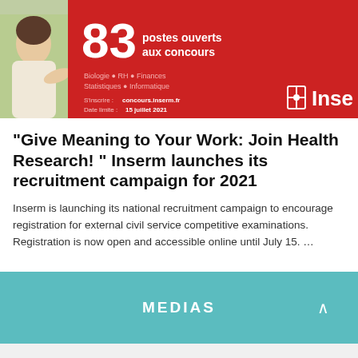[Figure (photo): Inserm recruitment campaign banner. Left: smiling woman gesturing on a green background. Right: red background with text '83 postes ouverts aux concours', fields listed (Biologie, RH, Finances, Statistiques, Informatique), website concours.inserm.fr, deadline 15 juillet 2021, and Inserm logo.]
“Give Meaning to Your Work: Join Health Research! ” Inserm launches its recruitment campaign for 2021
Inserm is launching its national recruitment campaign to encourage registration for external civil service competitive examinations. Registration is now open and accessible online until July 15. …
MEDIAS